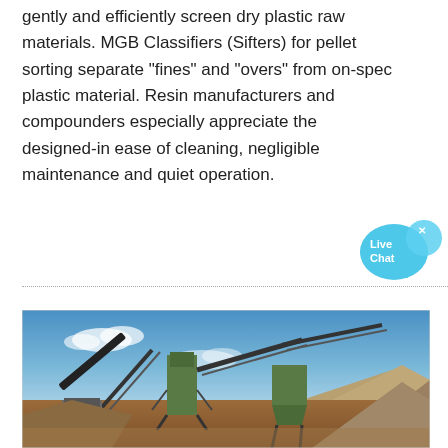gently and efficiently screen dry plastic raw materials. MGB Classifiers (Sifters) for pellet sorting separate "fines" and "overs" from on-spec plastic material. Resin manufacturers and compounders especially appreciate the designed-in ease of cleaning, negligible maintenance and quiet operation.
[Figure (infographic): Live Chat button — speech bubble icon in light blue with white text 'Live Chat']
[Figure (photo): Outdoor industrial screening/crushing plant with conveyor belts, machinery, and large gravel/aggregate piles under a blue sky with clouds.]